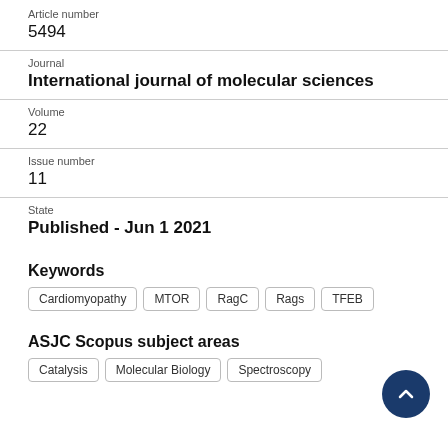Article number
5494
Journal
International journal of molecular sciences
Volume
22
Issue number
11
State
Published - Jun 1 2021
Keywords
Cardiomyopathy
MTOR
RagC
Rags
TFEB
ASJC Scopus subject areas
Catalysis
Molecular Biology
Spectroscopy